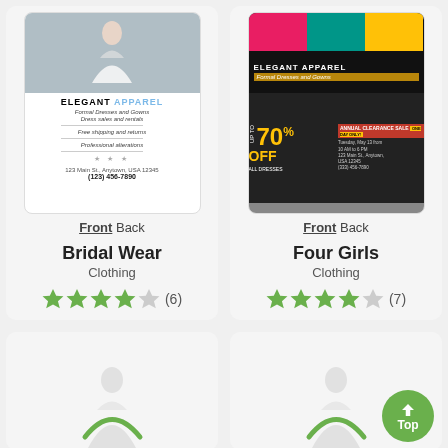[Figure (screenshot): Bridal Wear flyer - Elegant Apparel formal dresses and gowns with phone number (123) 456-7890]
Front Back
Bridal Wear
Clothing
★★★★☆ (6)
[Figure (screenshot): Four Girls flyer - Elegant Apparel up to 70% off annual clearance sale flyer]
Front Back
Four Girls
Clothing
★★★★☆ (7)
[Figure (screenshot): Loading card with dress silhouette - bottom left]
[Figure (screenshot): Loading card with dress silhouette - bottom right]